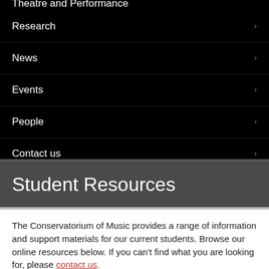Theatre and Performance ›
Research ›
News ›
Events ›
People ›
Contact us ›
Student Resources
The Conservatorium of Music provides a range of information and support materials for our current students. Browse our online resources below. If you can't find what you are looking for, please contact us.